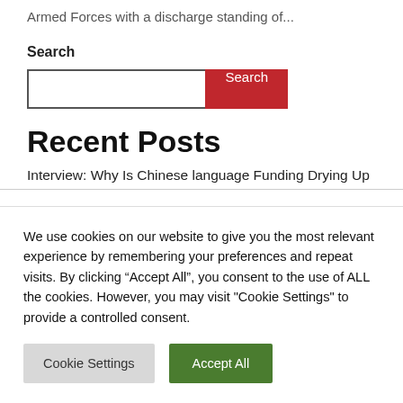Armed Forces with a discharge standing of...
Search
[Figure (screenshot): Search input box with red Search button]
Recent Posts
Interview: Why Is Chinese language Funding Drying Up
We use cookies on our website to give you the most relevant experience by remembering your preferences and repeat visits. By clicking “Accept All”, you consent to the use of ALL the cookies. However, you may visit "Cookie Settings" to provide a controlled consent.
Cookie Settings | Accept All